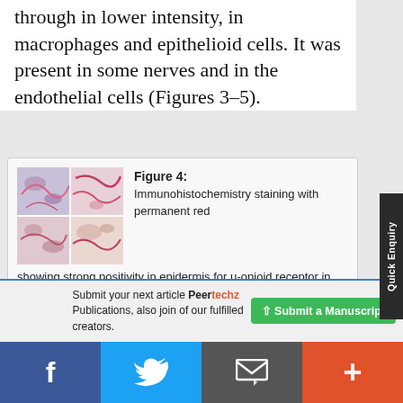through in lower intensity, in macrophages and epithelioid cells. It was present in some nerves and in the endothelial cells (Figures 3-5).
[Figure (photo): Four-panel immunohistochemistry image showing staining with permanent red in cutaneous lesion tissue sections (panels A, B, C, D).]
Figure 4: Immunohistochemistry staining with permanent red showing strong positivity in epidermis for μ-opioid receptor in painless (A and B) and painful (C and D) cutaneous lesions. Cutaneous leishmaniasis (A and C) and sporotrichosis lesions (B and D). A, B, C, magnification 4X. D,
Submit your next article Peertechz Publications, also join of our fulfilled creators.
f   Twitter   Email   +